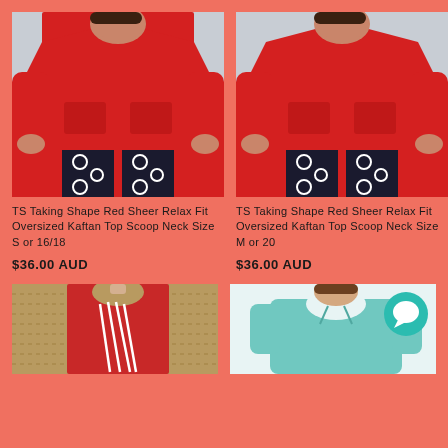[Figure (photo): Woman wearing red sheer oversized kaftan top with scoop neck, paired with black and white patterned pants, on light grey background]
[Figure (photo): Woman wearing red sheer oversized kaftan top with scoop neck, paired with black and white patterned pants, on light grey background (same style, different shot)]
TS Taking Shape Red Sheer Relax Fit Oversized Kaftan Top Scoop Neck Size S or 16/18
$36.00 AUD
TS Taking Shape Red Sheer Relax Fit Oversized Kaftan Top Scoop Neck Size M or 20
$36.00 AUD
[Figure (photo): Red top with white stripe/print design on mannequin with woven background]
[Figure (photo): Light teal/aqua blouse with tie neckline on model, with teal chat/messenger icon overlay in top right]